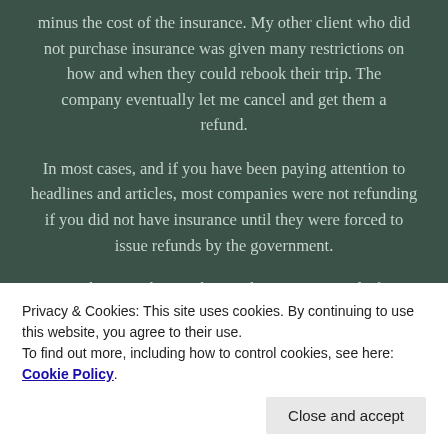minus the cost of the insurance. My other client who did not purchase insurance was given many restrictions on how and when they could rebook their trip. The company eventually let me cancel and get them a refund.
In most cases, and if you have been paying attention to headlines and articles, most companies were not refunding if you did not have insurance until they were forced to issue refunds by the government.
Let's bust another myth, travel insurance is only for
Privacy & Cookies: This site uses cookies. By continuing to use this website, you agree to their use.
To find out more, including how to control cookies, see here: Cookie Policy
Contact your travel agent for more details on travel